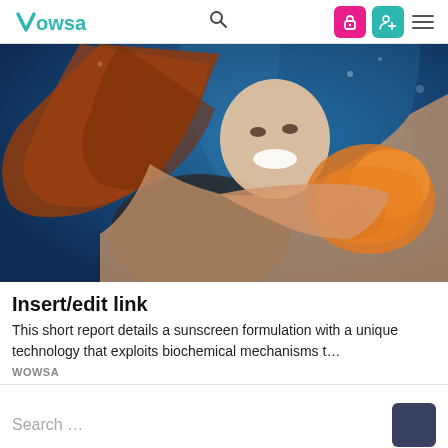WOWSA
[Figure (photo): Underwater photo of a young woman with flowing red hair smiling and holding a large orange conch/shell, set against a deep blue underwater background.]
Insert/edit link
This short report details a sunscreen formulation with a unique technology that exploits biochemical mechanisms t…
WOWSA
Search …